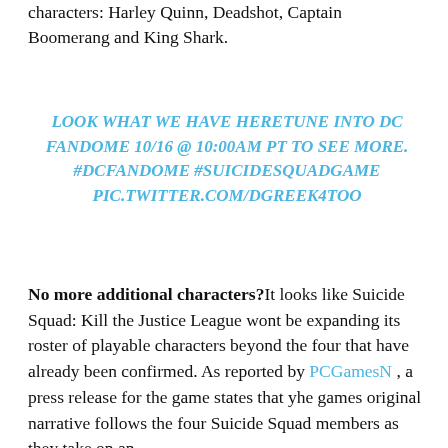characters: Harley Quinn, Deadshot, Captain Boomerang and King Shark.
LOOK WHAT WE HAVE HERETUNE INTO DC FANDOME 10/16 @ 10:00AM PT TO SEE MORE. #DCFANDOME #SUICIDESQUADGAME PIC.TWITTER.COM/DGREEK4TOO
No more additional characters? It looks like Suicide Squad: Kill the Justice League wont be expanding its roster of playable characters beyond the four that have already been confirmed. As reported by PCGamesN , a press release for the game states that yhe games original narrative follows the four Suicide Squad members as they take on an